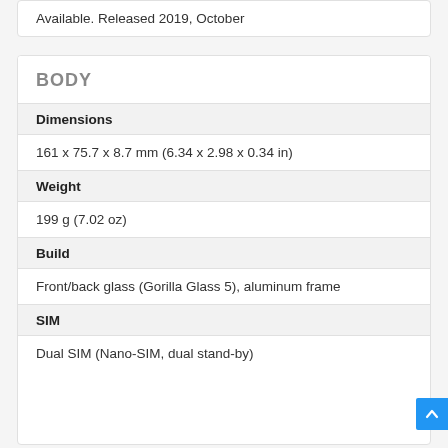Available. Released 2019, October
BODY
| Dimensions | 161 x 75.7 x 8.7 mm (6.34 x 2.98 x 0.34 in) |
| Weight | 199 g (7.02 oz) |
| Build | Front/back glass (Gorilla Glass 5), aluminum frame |
| SIM | Dual SIM (Nano-SIM, dual stand-by) |